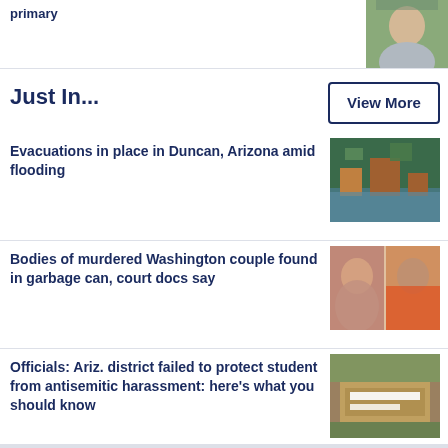primary
[Figure (photo): Headshot of a person outdoors]
Just In...
View More
Evacuations in place in Duncan, Arizona amid flooding
[Figure (photo): Aerial view of flooding in a neighborhood]
Bodies of murdered Washington couple found in garbage can, court docs say
[Figure (photo): Photos of a couple side by side]
Officials: Ariz. district failed to protect student from antisemitic harassment: here's what you should know
[Figure (photo): Kyrene School District sign]
Paul Pelosi DUI dashcam video released after guilty plea
[Figure (photo): Dark dashcam video still]